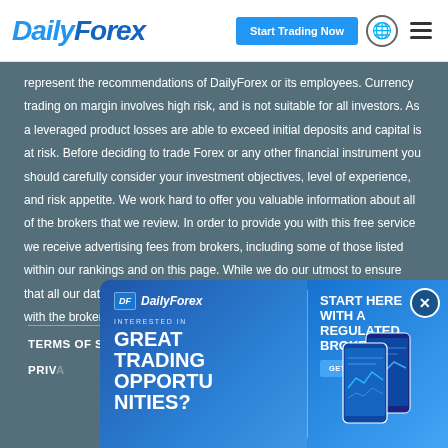DailyForex | Start Trading Now
represent the recommendations of DailyForex or its employees. Currency trading on margin involves high risk, and is not suitable for all investors. As a leveraged product losses are able to exceed initial deposits and capital is at risk. Before deciding to trade Forex or any other financial instrument you should carefully consider your investment objectives, level of experience, and risk appetite. We work hard to offer you valuable information about all of the brokers that we review. In order to provide you with this free service we receive advertising fees from brokers, including some of those listed within our rankings and on this page. While we do our utmost to ensure that all our data is up-to-date, we encourage you to verify our information with the broker directly.
TERMS OF SERVICE
ABOUT US
PRIVACY
CONTACT US
FAQ
[Figure (screenshot): DailyForex advertisement banner showing 'INTERESTED IN GREAT TRADING OPPORTUNITIES?' with 'START HERE WITH A REGULATED BROKER' and 'GET STARTED' button, featuring phone mockups with trading charts]